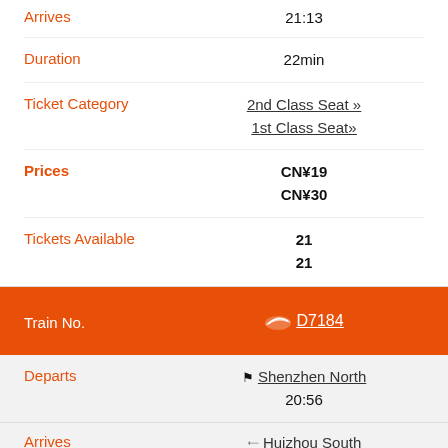Arrives
21:13
Duration
22min
Ticket Category
2nd Class Seat »
1st Class Seat»
Prices
CN¥19
CN¥30
Tickets Available
21
21
Train No.
D7184
Departs
Shenzhen North
20:56
Arrives
Huizhou South
21:18